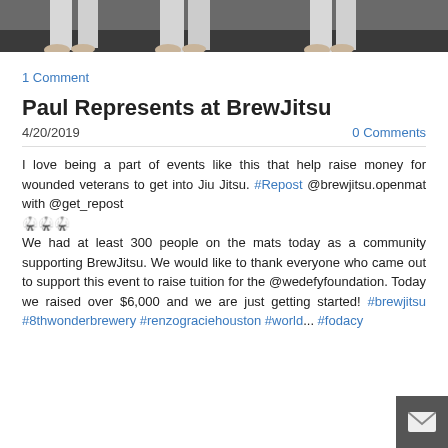[Figure (photo): Bottom of photo showing feet/legs of people standing on a dark mat, wearing white gi pants]
1 Comment
Paul Represents at BrewJitsu
4/20/2019   0 Comments
I love being a part of events like this that help raise money for wounded veterans to get into Jiu Jitsu. #Repost @brewjitsu.openmat with @get_repost
🥋🥋🥋
We had at least 300 people on the mats today as a community supporting BrewJitsu. We would like to thank everyone who came out to support this event to raise tuition for the @wedefyfoundation. Today we raised over $6,000 and we are just getting started! #brewjitsu #8thwonderbrewery #renzograciehouston #world... #fodacy